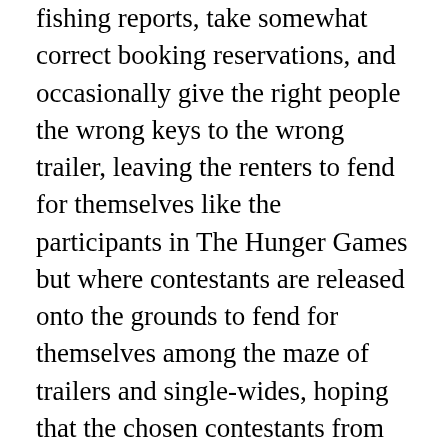give very accurate yet amusingly vague fishing reports, take somewhat correct booking reservations, and occasionally give the right people the wrong keys to the wrong trailer, leaving the renters to fend for themselves like the participants in The Hunger Games but where contestants are released onto the grounds to fend for themselves among the maze of trailers and single-wides, hoping that the chosen contestants from neighboring districts realize they are in the wrong bathroom before they sully the toilet.
Lunch seemed a distant memory now. A wave broke against my shins, sending up a cold